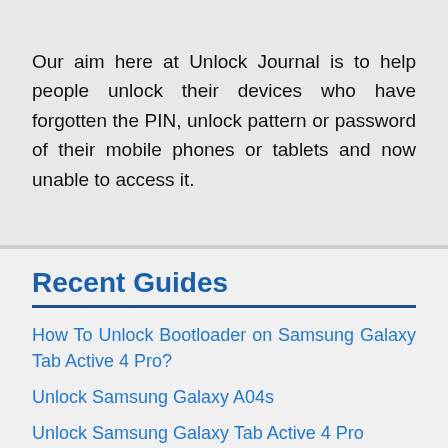Our aim here at Unlock Journal is to help people unlock their devices who have forgotten the PIN, unlock pattern or password of their mobile phones or tablets and now unable to access it.
Recent Guides
How To Unlock Bootloader on Samsung Galaxy Tab Active 4 Pro?
Unlock Samsung Galaxy A04s
Unlock Samsung Galaxy Tab Active 4 Pro
Unlock BLU Studio Y5 Max